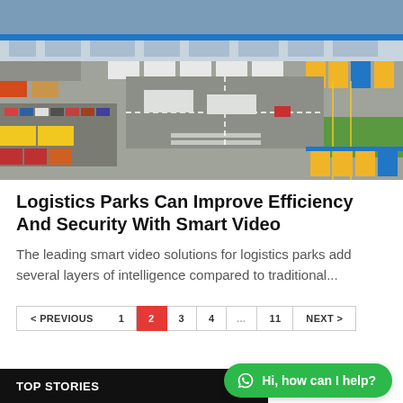[Figure (photo): Aerial view of a large logistics park with trucks, trailers, and warehouses with blue and yellow markings]
Logistics Parks Can Improve Efficiency And Security With Smart Video
The leading smart video solutions for logistics parks add several layers of intelligence compared to traditional...
< PREVIOUS  1  2  3  4  ...  11  NEXT >  |  TOP STORIES  |  Hi, how can I help?